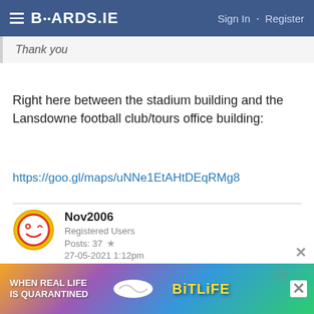BOARDS.IE  Sign In · Register
Thank you
Right here between the stadium building and the Lansdowne football club/tours office building:
https://goo.gl/maps/uNNe1EtAHtDEqRMg8
Nov2006
Registered Users
Posts: 37 ★
27-05-2021 1:12pm
Dublin not very quick at the moment. So if you are 47 to 49 I wouldn't be worried yet.
[Figure (other): BitLife advertisement banner with rainbow background: WHEN REAL LIFE IS QUARANTINED · BITLIFE]